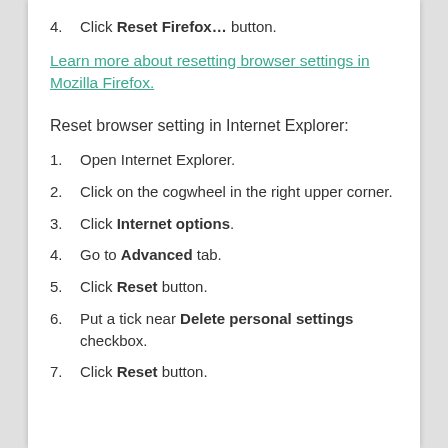4. Click Reset Firefox… button.
Learn more about resetting browser settings in Mozilla Firefox.
Reset browser setting in Internet Explorer:
1. Open Internet Explorer.
2. Click on the cogwheel in the right upper corner.
3. Click Internet options.
4. Go to Advanced tab.
5. Click Reset button.
6. Put a tick near Delete personal settings checkbox.
7. Click Reset button.